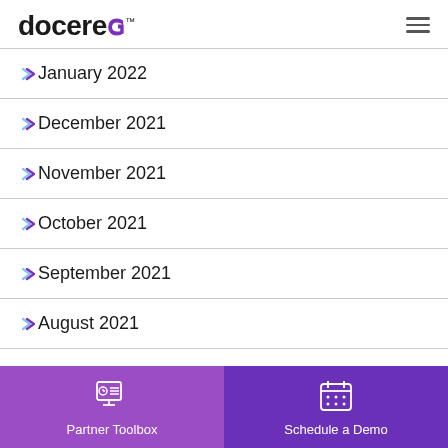Docere™
January 2022
December 2021
November 2021
October 2021
September 2021
August 2021
July 2021
[Figure (other): Footer navigation bar with two buttons: 'Partner Toolbox' (purple, left) with a monitor/dashboard icon, and 'Schedule a Demo' (dark purple, right) with a calendar icon]